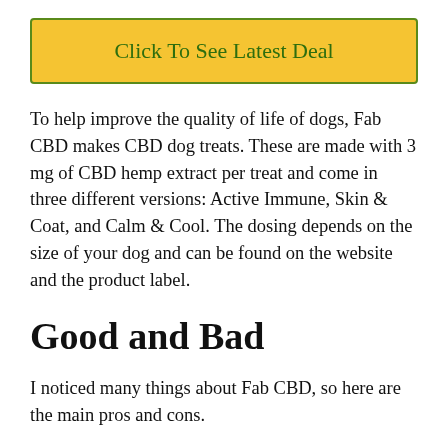[Figure (other): Yellow button with green border and green text reading 'Click To See Latest Deal']
To help improve the quality of life of dogs, Fab CBD makes CBD dog treats. These are made with 3 mg of CBD hemp extract per treat and come in three different versions: Active Immune, Skin & Coat, and Calm & Cool. The dosing depends on the size of your dog and can be found on the website and the product label.
Good and Bad
I noticed many things about Fab CBD, so here are the main pros and cons.